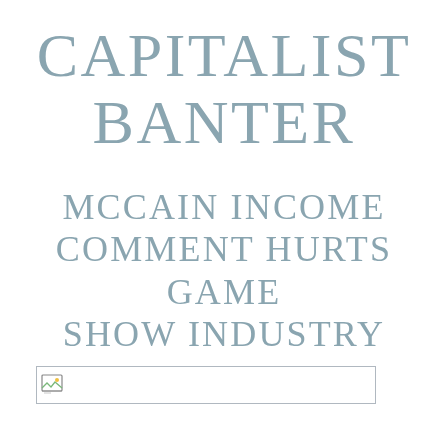CAPITALIST BANTER
MCCAIN INCOME COMMENT HURTS GAME SHOW INDUSTRY
AUGUST 25, 2008
[Figure (other): Broken image placeholder / thumbnail]